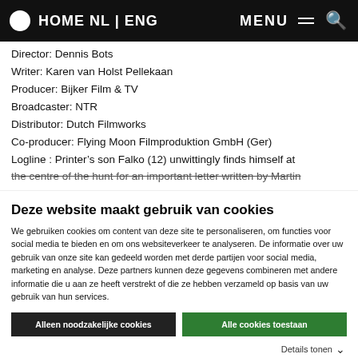HOME NL | ENG   MENU ☰ 🔍
Director: Dennis Bots
Writer: Karen van Holst Pellekaan
Producer: Bijker Film & TV
Broadcaster: NTR
Distributor: Dutch Filmworks
Co-producer: Flying Moon Filmproduktion GmbH (Ger)
Logline : Printer's son Falko (12) unwittingly finds himself at the centre of the hunt for an important letter written by Martin
Deze website maakt gebruik van cookies
We gebruiken cookies om content van deze site te personaliseren, om functies voor social media te bieden en om ons websiteverkeer te analyseren. De informatie over uw gebruik van onze site kan gedeeld worden met derde partijen voor social media, marketing en analyse. Deze partners kunnen deze gegevens combineren met andere informatie die u aan ze heeft verstrekt of die ze hebben verzameld op basis van uw gebruik van hun services.
Alleen noodzakelijke cookies
Alle cookies toestaan
Details tonen